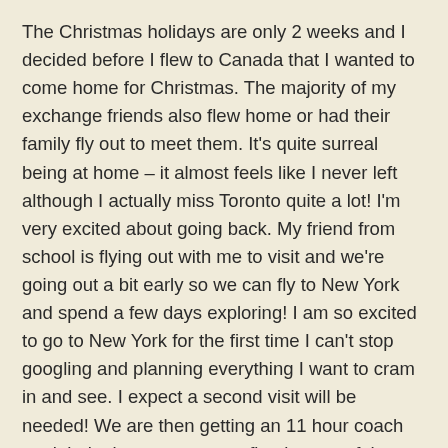The Christmas holidays are only 2 weeks and I decided before I flew to Canada that I wanted to come home for Christmas. The majority of my exchange friends also flew home or had their family fly out to meet them. It's quite surreal being at home – it almost feels like I never left although I actually miss Toronto quite a lot! I'm very excited about going back. My friend from school is flying out with me to visit and we're going out a bit early so we can fly to New York and spend a few days exploring! I am so excited to go to New York for the first time I can't stop googling and planning everything I want to cram in and see. I expect a second visit will be needed! We are then getting an 11 hour coach straight in time to get to my first lecture of the term...!